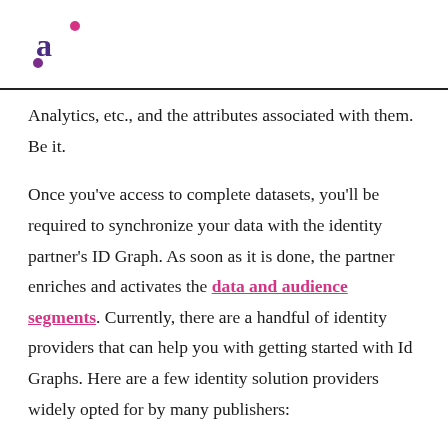Analytics, etc., and the attributes associated with them. Be it.
Once you've access to complete datasets, you'll be required to synchronize your data with the identity partner's ID Graph. As soon as it is done, the partner enriches and activates the data and audience segments. Currently, there are a handful of identity providers that can help you with getting started with Id Graphs. Here are a few identity solution providers widely opted for by many publishers: